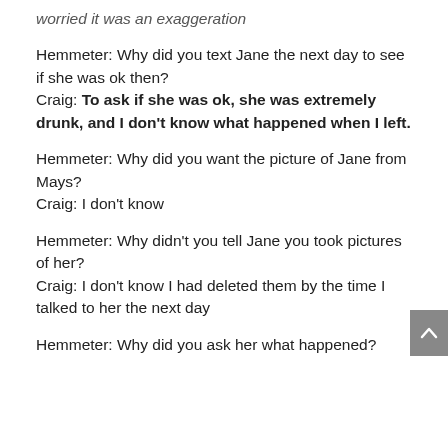worried it was an exaggeration
Hemmeter: Why did you text Jane the next day to see if she was ok then?
Craig: To ask if she was ok, she was extremely drunk, and I don't know what happened when I left.
Hemmeter: Why did you want the picture of Jane from Mays?
Craig: I don't know
Hemmeter: Why didn't you tell Jane you took pictures of her?
Craig: I don't know I had deleted them by the time I talked to her the next day
Hemmeter: Why did you ask her what happened?